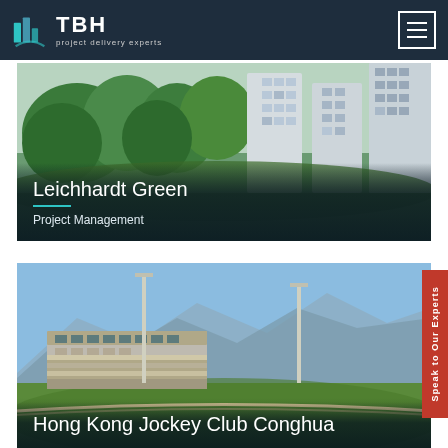TBH — project delivery experts
[Figure (photo): Aerial/street view of Leichhardt Green residential development with modern apartment buildings surrounded by lush green trees]
Leichhardt Green
Project Management
[Figure (photo): Hong Kong Jockey Club Conghua racecourse with grandstand building, floodlight poles, racetrack, and mountains in background under blue sky]
Hong Kong Jockey Club Conghua